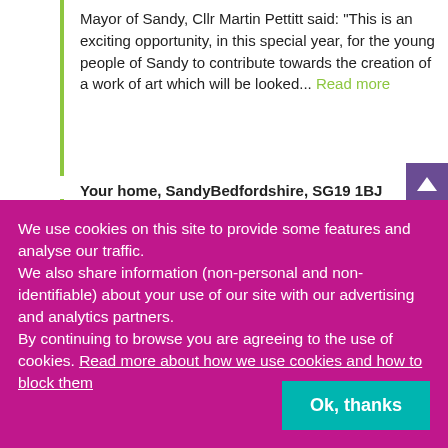Mayor of Sandy, Cllr Martin Pettitt said: "This is an exciting opportunity, in this special year, for the young people of Sandy to contribute towards the creation of a work of art which will be looked... Read more
Your home, SandyBedfordshire, SG19 1BJ
We use cookies on this site to provide some features and analyse our traffic.
We also share information (non-personal and non-identifiable) about your use of our site with our advertising and analytics partners.
By continuing to browse you are agreeing to the use of cookies. Read more about how we use cookies and how to block them